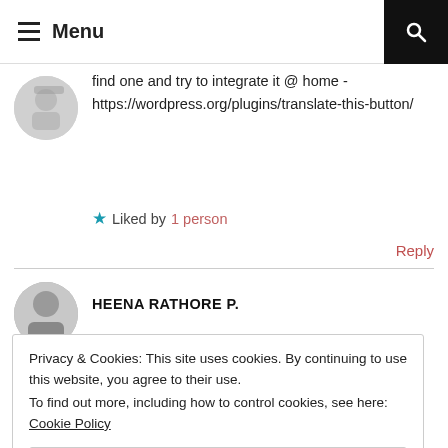Menu
find one and try to integrate it @ home - https://wordpress.org/plugins/translate-this-button/
★ Liked by 1 person
Reply
HEENA RATHORE P.
Privacy & Cookies: This site uses cookies. By continuing to use this website, you agree to their use.
To find out more, including how to control cookies, see here: Cookie Policy
Close and accept